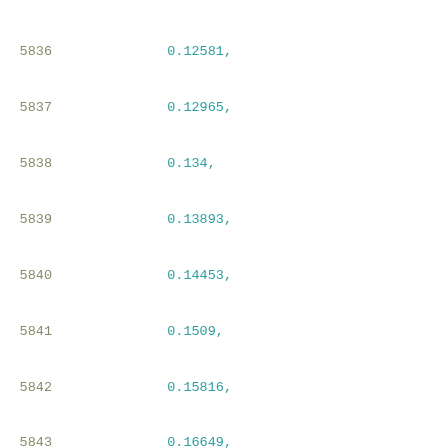5836    0.12581,
5837    0.12965,
5838    0.134,
5839    0.13893,
5840    0.14453,
5841    0.1509,
5842    0.15816,
5843    0.16649,
5844    0.17606,
5845    0.18711,
5846    0.19997,
5847    0.215,
5848    0.23266,
5849    0.25348
5850    ],
5851    [
5852    0.10238,
5853    0.12381,
5854    0.1272,
5855    0.13104,
5856    0.13539,